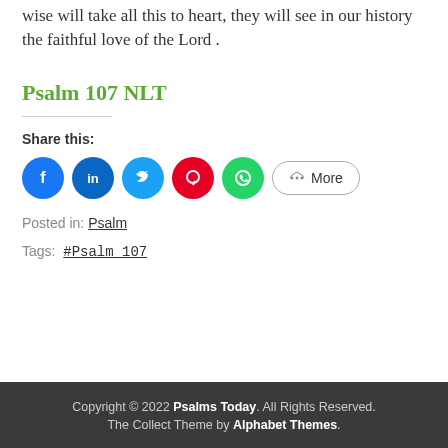wise will take all this to heart, they will see in our history the faithful love of the Lord .
Psalm 107 NLT
Share this:
[Figure (infographic): Social share buttons: Facebook, LinkedIn, Twitter, Pinterest, WhatsApp, and More]
Posted in: Psalm
Tags: #Psalm 107
Copyright © 2022 Psalms Today. All Rights Reserved. The Collect Theme by Alphabet Themes.